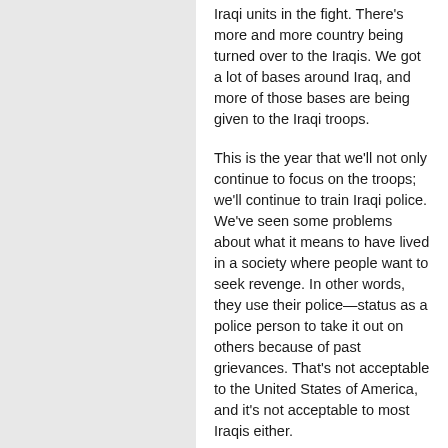Iraqi units in the fight. There's more and more country being turned over to the Iraqis. We got a lot of bases around Iraq, and more of those bases are being given to the Iraqi troops.
This is the year that we'll not only continue to focus on the troops; we'll continue to train Iraqi police. We've seen some problems about what it means to have lived in a society where people want to seek revenge. In other words, they use their police—status as a police person to take it out on others because of past grievances. That's not acceptable to the United States of America, and it's not acceptable to most Iraqis either.
And so part of the training for police is not only to give them the capacity to